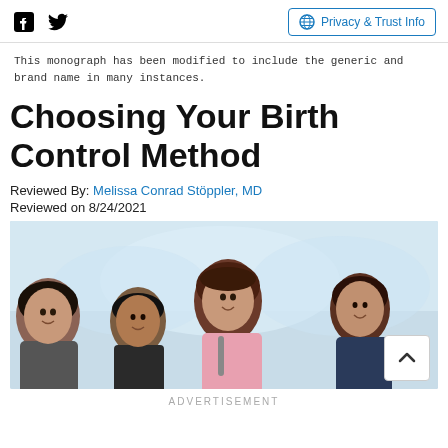Facebook icon | Twitter icon | Privacy & Trust Info
This monograph has been modified to include the generic and brand name in many instances.
Choosing Your Birth Control Method
Reviewed By: Melissa Conrad Stöppler, MD
Reviewed on 8/24/2021
[Figure (photo): Group of diverse young people smiling, against a light blue sky background]
ADVERTISEMENT